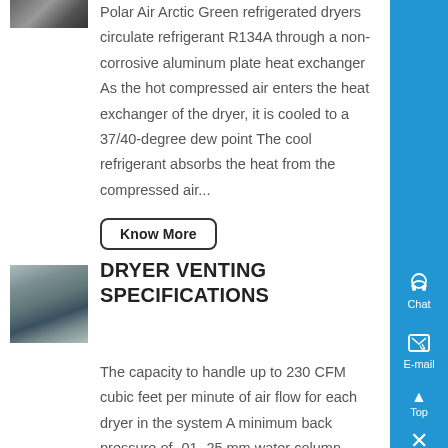[Figure (photo): Thumbnail image of refrigerated dryer equipment at top left]
Polar Air Arctic Green refrigerated dryers circulate refrigerant R134A through a non-corrosive aluminum plate heat exchanger As the hot compressed air enters the heat exchanger of the dryer, it is cooled to a 37/40-degree dew point The cool refrigerant absorbs the heat from the compressed air...
Know More
[Figure (photo): Thumbnail image of industrial dryer venting equipment]
DRYER VENTING SPECIFICATIONS
The capacity to handle up to 230 CFM cubic feet per minute of air flow for each dryer in the system A minimum back pressure of -01 -25 mm water column